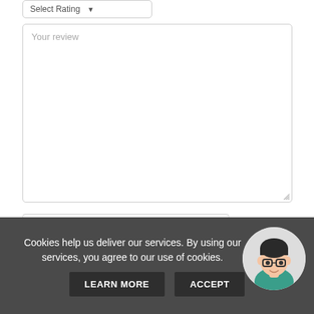[Figure (screenshot): Dropdown selector stub with 'Select Rating' label and arrow, partially visible at top]
[Figure (screenshot): Large text area input box with placeholder text 'Your review' and resize handle at bottom right]
[Figure (screenshot): reCAPTCHA widget with checkbox, 'I'm not a robot' text, reCAPTCHA logo, Privacy and Terms links]
Cookies help us deliver our services. By using our services, you agree to our use of cookies.
LEARN MORE
ACCEPT
[Figure (illustration): Circular avatar illustration of a person with glasses and short dark hair, wearing a teal/green shirt]